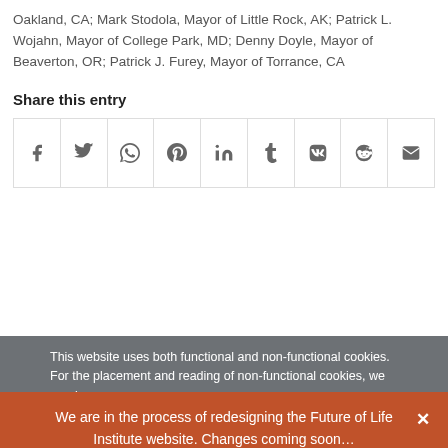Oakland, CA; Mark Stodola, Mayor of Little Rock, AK; Patrick L. Wojahn, Mayor of College Park, MD; Denny Doyle, Mayor of Beaverton, OR; Patrick J. Furey, Mayor of Torrance, CA
Share this entry
[Figure (infographic): A row of 9 social media sharing icons in bordered grid cells: Facebook, Twitter, WhatsApp, Pinterest, LinkedIn, Tumblr, VK, Reddit, Email]
This website uses both functional and non-functional cookies. For the placement and reading of non-functional cookies, we require
SUPPORT FLI
We are in the process of redesigning the Future of Life Institute website. Changes coming soon…